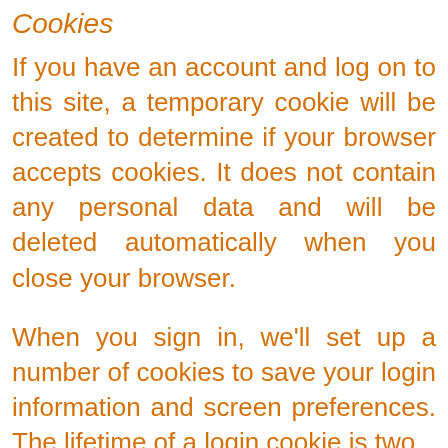Cookies
If you have an account and log on to this site, a temporary cookie will be created to determine if your browser accepts cookies. It does not contain any personal data and will be deleted automatically when you close your browser.
When you sign in, we'll set up a number of cookies to save your login information and screen preferences. The lifetime of a login cookie is two